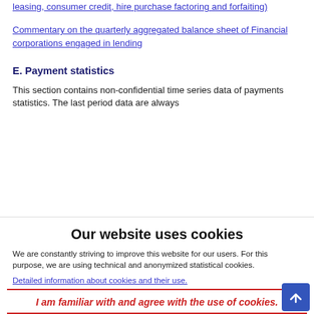leasing, consumer credit, hire purchase factoring and forfaiting)
Commentary on the quarterly aggregated balance sheet of Financial corporations engaged in lending
E. Payment statistics
This section contains non-confidential time series data of payments statistics. The last period data are always
Our website uses cookies
We are constantly striving to improve this website for our users. For this purpose, we are using technical and anonymized statistical cookies.
Detailed information about cookies and their use.
I am familiar with and agree with the use of cookies.